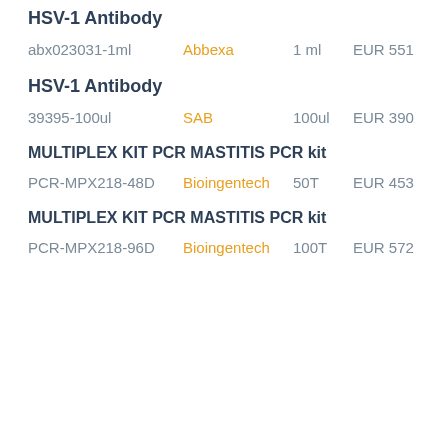HSV-1 Antibody
abx023031-1ml   Abbexa   1 ml   EUR 551
HSV-1 Antibody
39395-100ul   SAB   100ul   EUR 390
MULTIPLEX KIT PCR MASTITIS PCR kit
PCR-MPX218-48D   Bioingentech   50T   EUR 453
MULTIPLEX KIT PCR MASTITIS PCR kit
PCR-MPX218-96D   Bioingentech   100T   EUR 572